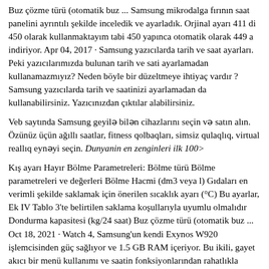Buz çözme türü (otomatik buz ... Samsung mikrodalga fırının saat panelini ayrıntılı şekilde inceledik ve ayarladık. Orjinal ayarı 411 di 450 olarak kullanmaktayım tabi 450 yapınca otomatik olarak 449 a indiriyor. Apr 04, 2017 · Samsung yazıcılarda tarih ve saat ayarları. Peki yazıcılarımızda bulunan tarih ve sati ayarlamadan kullanamazmıyız? Neden böyle bir düzeltmeye ihtiyaç vardır ? Samsung yazıcılarda tarih ve saatinizi ayarlamadan da kullanabilirsiniz. Yazıcınızdan çıktılar alabilirsiniz.
Veb saytında Samsung geyilə bilən cihazlarını seçin və satın alın. Özünüz üçün ağıllı saatlar, fitness qolbaqları, simsiz qulaqlıq, virtual reallıq eynəyi seçin. Dunyanin en zenginleri ilk 100>
Kış ayarı Hayır Bölme Parametreleri: Bölme türü Bölme parametreleri ve değerleri Bölme Hacmi (dm3 veya l) Gıdaları en verimli şekilde saklamak için önerilen sıcaklık ayarı (°C) Bu ayarlar, Ek IV Tablo 3'te belirtilen saklama koşullarıyla uyumlu olmalıdır Dondurma kapasitesi (kg/24 saat) Buz çözme türü (otomatik buz ... Oct 18, 2021 · Watch 4, Samsung'un kendi Exynos W920 işlemcisinden güç sağlıyor ve 1.5 GB RAM içeriyor. Bu ikili, gayet akıcı bir menü kullanımı ve saatin fonksiyonlarından rahatlıkla sorun yaşamaksızın faydalanabilmeniz için fazlasıyla yeterli. Hatta Watch 4'ün şu ana kadar kullandığımız en hızlı akıllı saatlerinden biri olduğunu ... prilojenije taksi v stambule Aksam ezani urfa